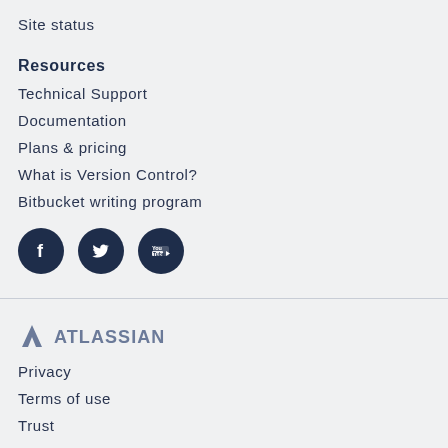Site status
Resources
Technical Support
Documentation
Plans & pricing
What is Version Control?
Bitbucket writing program
[Figure (illustration): Three social media icons: Facebook, Twitter, YouTube — dark circular buttons]
[Figure (logo): Atlassian logo with triangle/mountain icon and ATLASSIAN text in grey]
Privacy
Terms of use
Trust